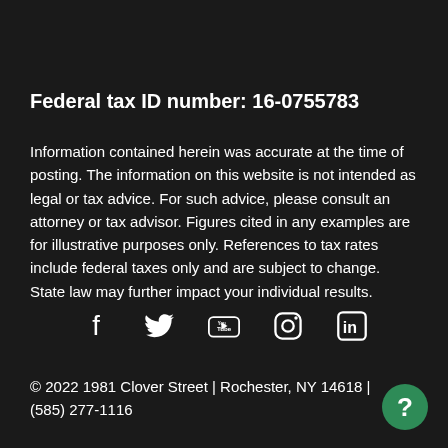Federal tax ID number: 16-0755783
Information contained herein was accurate at the time of posting. The information on this website is not intended as legal or tax advice. For such advice, please consult an attorney or tax advisor. Figures cited in any examples are for illustrative purposes only. References to tax rates include federal taxes only and are subject to change. State law may further impact your individual results.
[Figure (other): Social media icons: Facebook, Twitter, YouTube, Instagram, LinkedIn]
© 2022 1981 Clover Street | Rochester, NY 14618 | (585) 277-1116